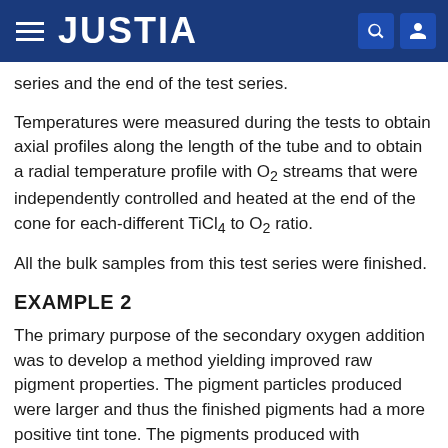JUSTIA
series and the end of the test series.
Temperatures were measured during the tests to obtain axial profiles along the length of the tube and to obtain a radial temperature profile with O2 streams that were independently controlled and heated at the end of the cone for each-different TiCl4 to O2 ratio.
All the bulk samples from this test series were finished.
EXAMPLE 2
The primary purpose of the secondary oxygen addition was to develop a method yielding improved raw pigment properties. The pigment particles produced were larger and thus the finished pigments had a more positive tint tone. The pigments produced with secondary oxygen were less aggregated than pigment produced using the